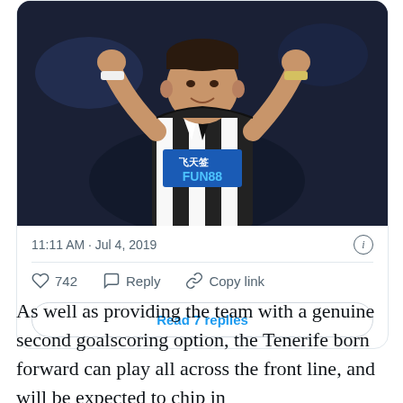[Figure (photo): A football player in a black and white striped Newcastle United jersey with FUNBB sponsor, arms raised in celebration]
11:11 AM · Jul 4, 2019
742  Reply  Copy link
Read 7 replies
As well as providing the team with a genuine second goalscoring option, the Tenerife born forward can play all across the front line, and will be expected to chip in